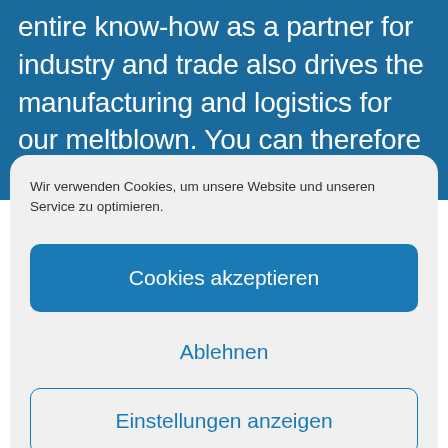entire know-how as a partner for industry and trade also drives the manufacturing and logistics for our meltblown. You can therefore be secure in the knowledge that you will receive a product at the best terms and at the best quality with all key
Wir verwenden Cookies, um unsere Website und unseren Service zu optimieren.
Cookies akzeptieren
Ablehnen
Einstellungen anzeigen
Privacy Policy